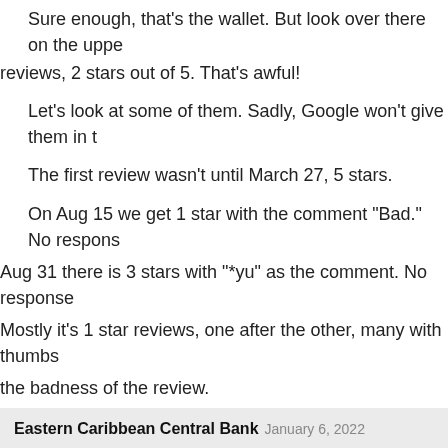Sure enough, that's the wallet. But look over there on the upper reviews, 2 stars out of 5. That's awful!
Let's look at some of them. Sadly, Google won't give them in t
The first review wasn't until March 27, 5 stars.
On Aug 15 we get 1 star with the comment "Bad." No response. Aug 31 there is 3 stars with "*yu" as the comment. No response. Mostly it's 1 star reviews, one after the other, many with thumbs the badness of the review.
Months later, Dec 12, we get 2 stars and "Efgy." And a response
mubee mubee
★ ★ ☆ ☆ ☆  December 12, 2021
Efgy
Eastern Caribbean Central Bank  January 6, 2022